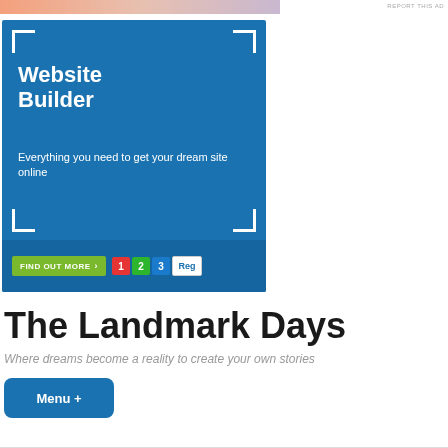[Figure (advertisement): Top horizontal banner ad with salmon/pink gradient color strip and 'REPORT THIS AD' text]
[Figure (advertisement): Blue Website Builder advertisement box with corner bracket decorations, title 'Website Builder', subtitle 'Everything you need to get your dream site online', a green 'FIND OUT MORE' button, and numbered badges 1 2 3 Reg]
The Landmark Days
Where dreams become a reality to create your own stories
Menu +